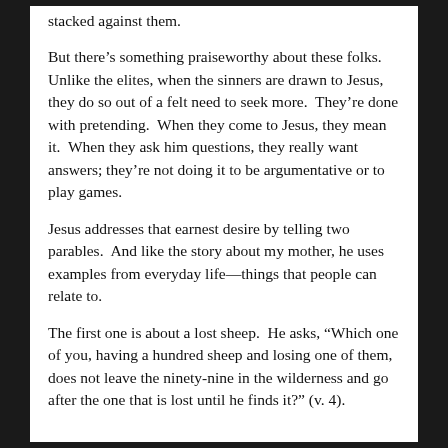stacked against them.
But there’s something praiseworthy about these folks. Unlike the elites, when the sinners are drawn to Jesus, they do so out of a felt need to seek more. They’re done with pretending. When they come to Jesus, they mean it. When they ask him questions, they really want answers; they’re not doing it to be argumentative or to play games.
Jesus addresses that earnest desire by telling two parables. And like the story about my mother, he uses examples from everyday life—things that people can relate to.
The first one is about a lost sheep. He asks, “Which one of you, having a hundred sheep and losing one of them, does not leave the ninety-nine in the wilderness and go after the one that is lost until he finds it?” (v. 4).